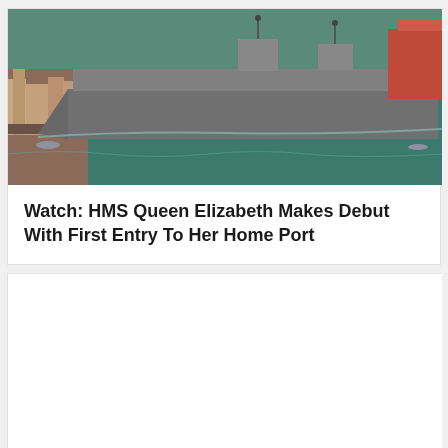[Figure (photo): Aerial photograph of HMS Queen Elizabeth aircraft carrier entering Portsmouth harbour, with the town visible to the left and other ships in the background.]
Watch: HMS Queen Elizabeth Makes Debut With First Entry To Her Home Port
[Figure (photo): Blank/white image placeholder for a second article thumbnail.]
Watch: MOL To Install Voyage Information